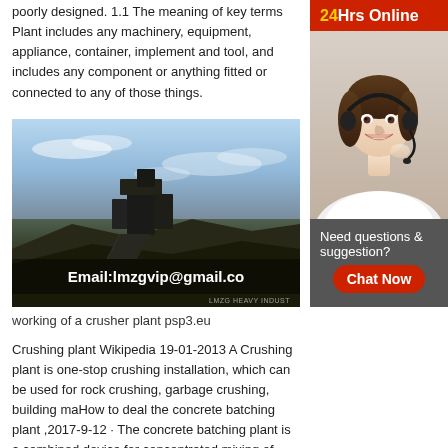poorly designed. 1.1 The meaning of key terms Plant includes any machinery, equipment, appliance, container, implement and tool, and includes any component or anything fitted or connected to any of those things.
[Figure (photo): A crusher plant machine operating outdoors with piles of crushed rock, blue sky with clouds. Overlay text: Email:lmzgvip@gmail.co and watermark LMZG HEAVY INDUST]
working of a crusher plant psp3.eu
Crushing plant Wikipedia 19-01-2013 A Crushing plant is one-stop crushing installation, which can be used for rock crushing, garbage crushing, building maHow to deal the concrete batching plant ,2017-9-12 · The concrete batching plant is a combined device for concentrated mixing of concrete. It is commonly used
[Figure (photo): Customer service agent with headset, smiling. Banner: 24Hrs Online. Chat box: Need questions & suggestion? Chat Now button.]